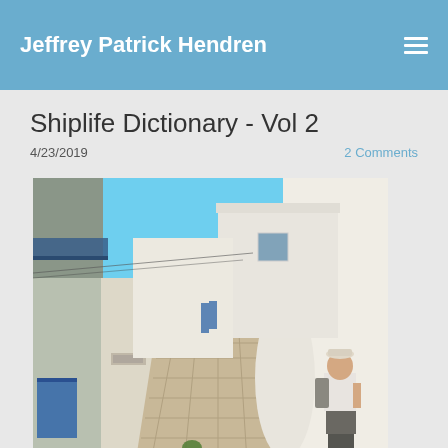Jeffrey Patrick Hendren
Shiplife Dictionary - Vol 2
4/23/2019
2 Comments
[Figure (photo): Person standing in a narrow whitewashed alley in Mykonos, Greece, with blue sky above and white buildings on both sides]